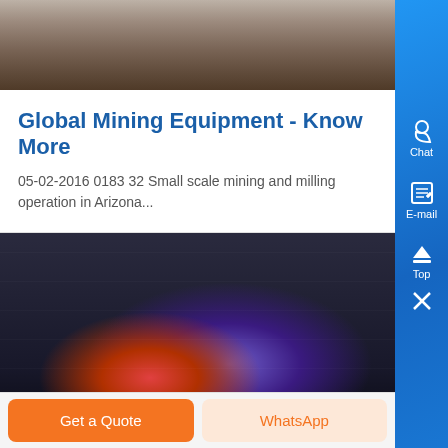[Figure (photo): Partial view of mining or industrial equipment, top portion cropped, brownish/grey tones]
Global Mining Equipment - Know More
05-02-2016 0183 32 Small scale mining and milling operation in Arizona...
[Figure (photo): Industrial/mining interior scene with a glowing red-orange heat source and purple/blue atmospheric lighting, dark background]
Get a Quote
WhatsApp